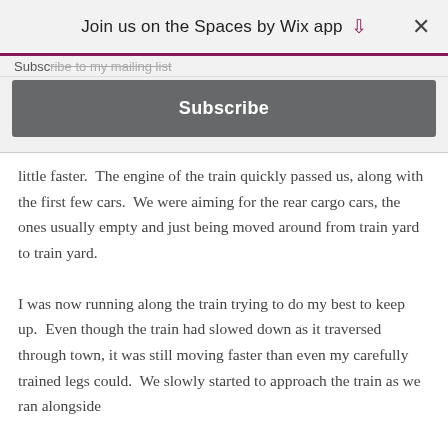Join us on the Spaces by Wix app ↓ ×
Subscribe to my mailing list
Subscribe
little faster.  The engine of the train quickly passed us, along with the first few cars.  We were aiming for the rear cargo cars, the ones usually empty and just being moved around from train yard to train yard.

I was now running along the train trying to do my best to keep up.  Even though the train had slowed down as it traversed through town, it was still moving faster than even my carefully trained legs could.  We slowly started to approach the train as we ran alongside